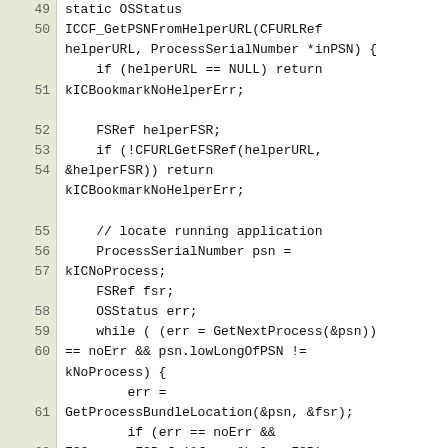[Figure (screenshot): Source code listing showing lines 49-62 of a C/Objective-C function ICCF_GetPSNFromHelperURL with line numbers on the left gutter and code on the right.]